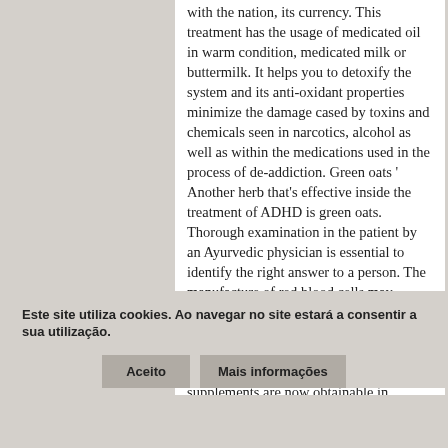with the nation, its currency. This treatment has the usage of medicated oil in warm condition, medicated milk or buttermilk. It helps you to detoxify the system and its anti-oxidant properties minimize the damage cased by toxins and chemicals seen in narcotics, alcohol as well as within the medications used in the process of de-addiction. Green oats ' Another herb that's effective inside the treatment of ADHD is green oats. Thorough examination in the patient by an Ayurvedic physician is essential to identify the right answer to a person. The manufacture of red blood cells may decrease with vitamin B12 and folate deficiency. People who are being affected by asthma will get much needed respite from the use of this herb. Ginseng supplements are now obtainable in various forms, like capsules, dried root, and liquid extract. each is found to get beneficial effects on overall body including reproductive organs. Its a favorite semen promoter also it treats impotency and infertility. It is found to become very effective for preventing insufficient concentration, memory loss, mental fatigue and anxiety. Inadequate
Este site utiliza cookies. Ao navegar no site estará a consentir a sua utilização.